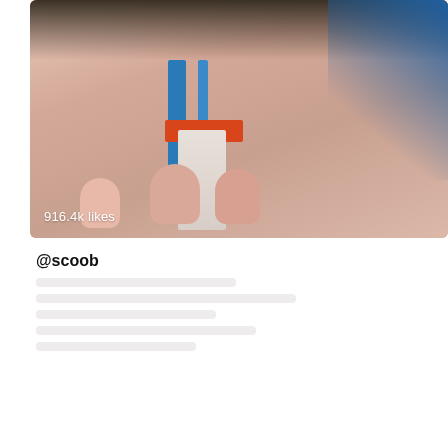[Figure (photo): Close-up photo of what appears to be a toy or figurine with orange and blue colored parts, with a hand/fingers visible in the lower portion. Overlay text shows '916.4k likes'.]
916.4k likes
@scoob